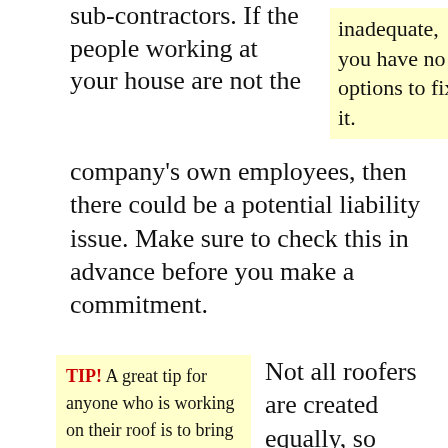sub-contractors. If the people working at your house are not the company's own employees, then there could be a potential liability issue. Make sure to check this in advance before you make a commitment.
inadequate, you have no options to fix it.
TIP! A great tip for anyone who is working on their roof is to bring a ladder up there and then nail a couple pieces of wood down to keep the ladder in place.
Not all roofers are created equally, so make sure you choose one wisely. Don't take the one with the best advertisements. Word of mouth generally is the superior kind of advertisement. Check out